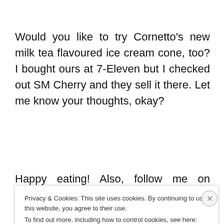Would you like to try Cornetto's new milk tea flavoured ice cream cone, too? I bought ours at 7-Eleven but I checked out SM Cherry and they sell it there. Let me know your thoughts, okay?
Happy eating! Also, follow me on Instagram,
Privacy & Cookies: This site uses cookies. By continuing to use this website, you agree to their use.
To find out more, including how to control cookies, see here: Cookie Policy
Close and accept